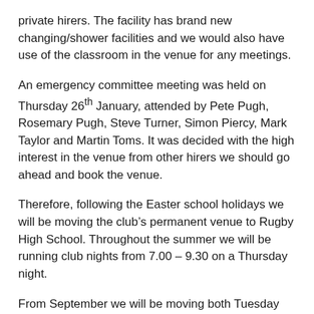private hirers. The facility has brand new changing/shower facilities and we would also have use of the classroom in the venue for any meetings.
An emergency committee meeting was held on Thursday 26th January, attended by Pete Pugh, Rosemary Pugh, Steve Turner, Simon Piercy, Mark Taylor and Martin Toms. It was decided with the high interest in the venue from other hirers we should go ahead and book the venue.
Therefore, following the Easter school holidays we will be moving the club’s permanent venue to Rugby High School. Throughout the summer we will be running club nights from 7.00 – 9.30 on a Thursday night.
From September we will be moving both Tuesday and Thursday sessions to Rugby High School. The Tuesday match session will run from 7.30 – 10.00 and the normal Thursday club night will run from 7.00 – 9.30.